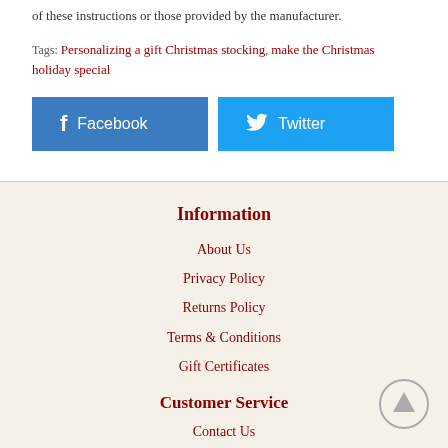of these instructions or those provided by the manufacturer.
Tags: Personalizing a gift Christmas stocking, make the Christmas holiday special
[Figure (screenshot): Facebook and Twitter social share buttons]
Information
About Us
Privacy Policy
Returns Policy
Terms & Conditions
Gift Certificates
Customer Service
Contact Us